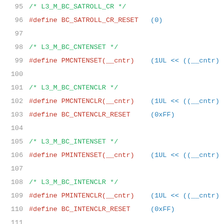95  /* L3_M_BC_SATROLL_CR */
96  #define BC_SATROLL_CR_RESET  (0)
97
98  /* L3_M_BC_CNTENSET */
99  #define PMCNTENSET(__cntr)  (1UL << ((__cntr)
100
101 /* L3_M_BC_CNTENCLR */
102 #define PMCNTENCLR(__cntr)  (1UL << ((__cntr)
103 #define BC_CNTENCLR_RESET   (0xFF)
104
105 /* L3_M_BC_INTENSET */
106 #define PMINTENSET(__cntr)  (1UL << ((__cntr)
107
108 /* L3_M_BC_INTENCLR */
109 #define PMINTENCLR(__cntr)  (1UL << ((__cntr)
110 #define BC_INTENCLR_RESET   (0xFF)
111
112 /* L3_M_BC_GANG */
113 #define GANG_EN(__cntr)  (1UL << ((__cntr)
114 #define BC_GANG_RESET    (0)
115
116 /* L3_M_BC_OVSR */